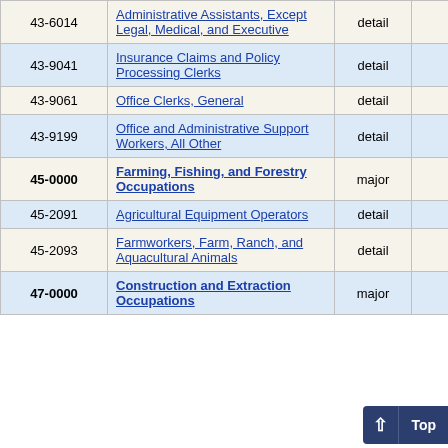| Code | Occupation | Level | Num1 | Num2 |
| --- | --- | --- | --- | --- |
| 43-6014 | Administrative Assistants, Except Legal, Medical, and Executive | detail | 520 | 4 |
| 43-9041 | Insurance Claims and Policy Processing Clerks | detail | 40 | 32 |
| 43-9061 | Office Clerks, General | detail | 780 | 4 |
| 43-9199 | Office and Administrative Support Workers, All Other | detail | 60 | 5 |
| 45-0000 | Farming, Fishing, and Forestry Occupations | major | 160 | 7 |
| 45-2091 | Agricultural Equipment Operators | detail | 40 | 11 |
| 45-2093 | Farmworkers, Farm, Ranch, and Aquacultural Animals | detail | 50 | 10 |
| 47-0000 | Construction and Extraction Occupations | major | 1,91 |  |